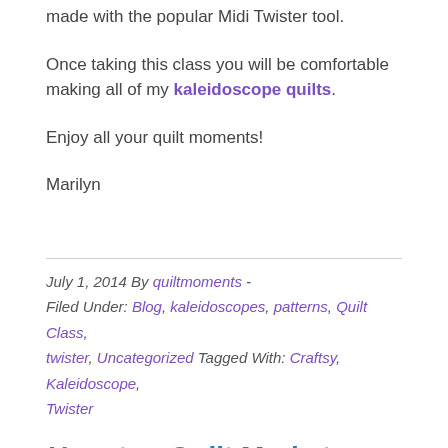made with the popular Midi Twister tool.
Once taking this class you will be comfortable making all of my kaleidoscope quilts.
Enjoy all your quilt moments!
Marilyn
July 1, 2014 By quiltmoments - Filed Under: Blog, kaleidoscopes, patterns, Quilt Class, twister, Uncategorized Tagged With: Craftsy, Kaleidoscope, Twister
Houston Quilt Market
Hi Fellow Quilters!